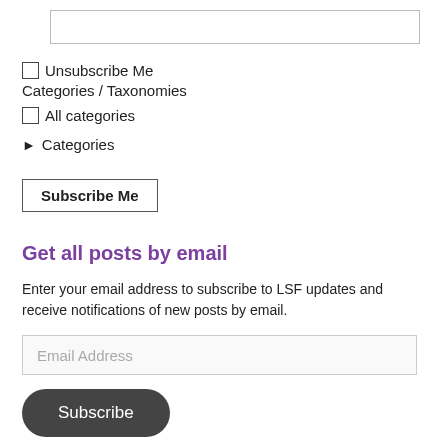[Figure (screenshot): Text input box (empty)]
Unsubscribe Me
Categories / Taxonomies
All categories
▶ Categories
Subscribe Me (button)
Get all posts by email
Enter your email address to subscribe to LSF updates and receive notifications of new posts by email.
Email Address (input placeholder)
Subscribe (button)